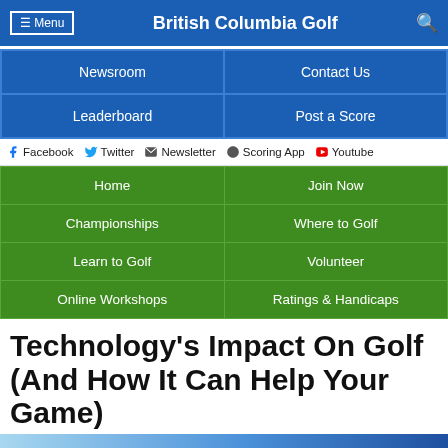≡ Menu | British Columbia Golf | 🔍
| Newsroom | Contact Us |
| Leaderboard | Post a Score |
f Facebook  🐦 Twitter  ✉ Newsletter  🍎 Scoring App  ▶ Youtube
| Home | Join Now |
| Championships | Where to Golf |
| Learn to Golf | Volunteer |
| Online Workshops | Ratings & Handicaps |
Technology's Impact On Golf (And How It Can Help Your Game)
[Figure (photo): Partial photo of a golf club head against a blue gradient background]